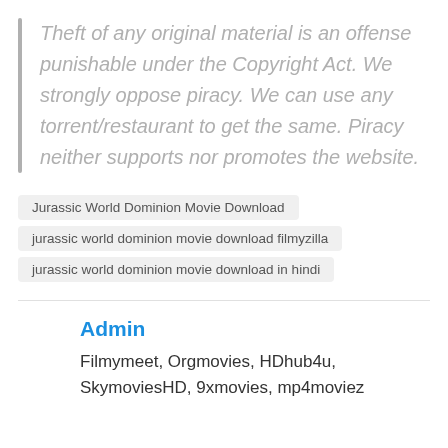Theft of any original material is an offense punishable under the Copyright Act. We strongly oppose piracy. We can use any torrent/restaurant to get the same. Piracy neither supports nor promotes the website.
Jurassic World Dominion Movie Download
jurassic world dominion movie download filmyzilla
jurassic world dominion movie download in hindi
Admin
Filmymeet, Orgmovies, HDhub4u, SkymoviesHD, 9xmovies, mp4moviez